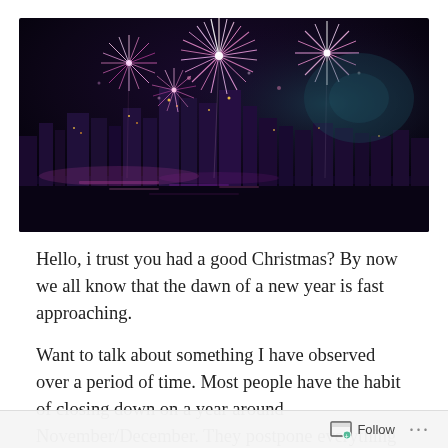[Figure (photo): Night cityscape with colorful fireworks (pink, purple, white) bursting over a skyline reflected in water below.]
Hello, i trust you had a good Christmas? By now we all know that the dawn of a new year is fast approaching.
Want to talk about something I have observed over a period of time. Most people have the habit of closing down on a year around November/December. They postpone everything into the following year, and that cycle of
Follow